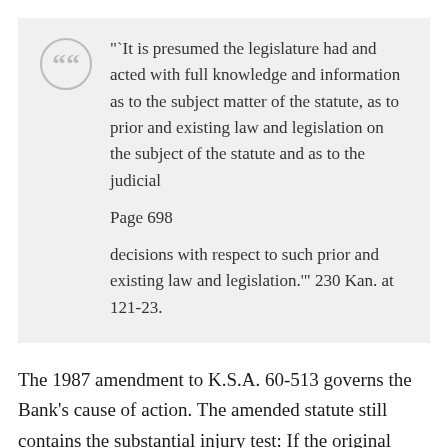"`It is presumed the legislature had and acted with full knowledge and information as to the subject matter of the statute, as to prior and existing law and legislation on the subject of the statute and as to the judicial
Page 698
decisions with respect to such prior and existing law and legislation.'" 230 Kan. at 121-23.
The 1987 amendment to K.S.A. 60-513 governs the Bank's cause of action. The amended statute still contains the substantial injury test: If the original wrongful act causes substantial injury, the two-year